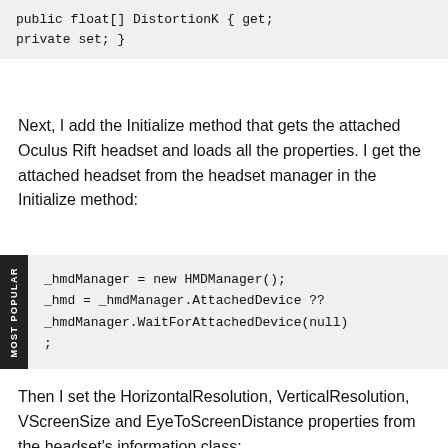public float[] DistortionK { get;
private set; }
Next, I add the Initialize method that gets the attached Oculus Rift headset and loads all the properties. I get the attached headset from the headset manager in the Initialize method:
_hmdManager = new HMDManager();
_hmd = _hmdManager.AttachedDevice ??
_hmdManager.WaitForAttachedDevice(null)
;
Then I set the HorizontalResolution, VerticalResolution, VScreenSize and EyeToScreenDistance properties from the headset's information class: